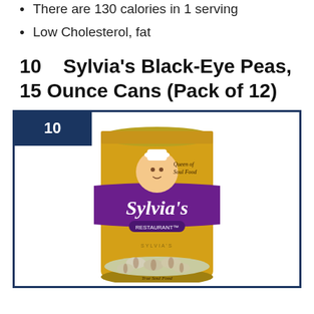There are 130 calories in 1 serving
Low Cholesterol, fat
10    Sylvia's Black-Eye Peas, 15 Ounce Cans (Pack of 12)
[Figure (photo): Sylvia's Restaurant brand canned black-eye peas, 15 oz can with yellow label showing a woman in a chef's hat and the text 'Queen of Soul Food'. The can shows black-eyed peas at the bottom. Numbered badge showing '10' in dark navy blue in the upper left corner of the card frame.]